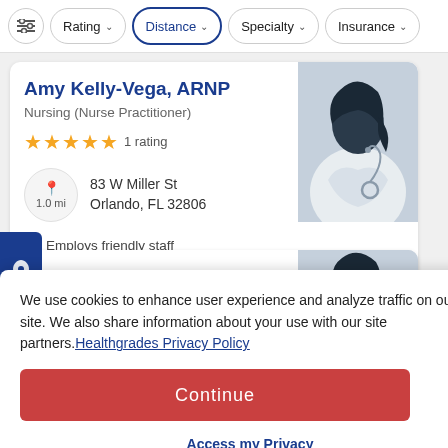Rating | Distance | Specialty | Insurance
Amy Kelly-Vega, ARNP
Nursing (Nurse Practitioner)
★★★★★ 1 rating
83 W Miller St Orlando, FL 32806 — 1.0 mi
Employs friendly staff
Explains conditions well
[Figure (illustration): Silhouette of female healthcare provider in white coat with stethoscope]
We use cookies to enhance user experience and analyze traffic on our site. We also share information about your use with our site partners. Healthgrades Privacy Policy
Continue
Access my Privacy Preferences